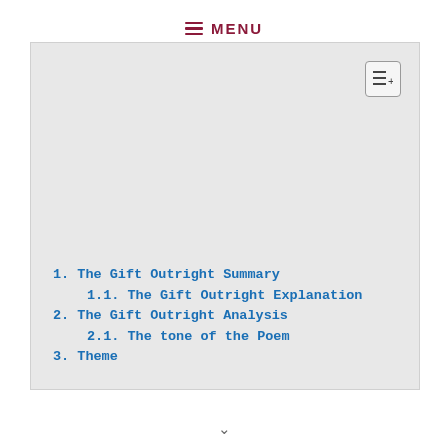≡ MENU
1. The Gift Outright Summary
1.1. The Gift Outright Explanation
2. The Gift Outright Analysis
2.1. The tone of the Poem
3. Theme